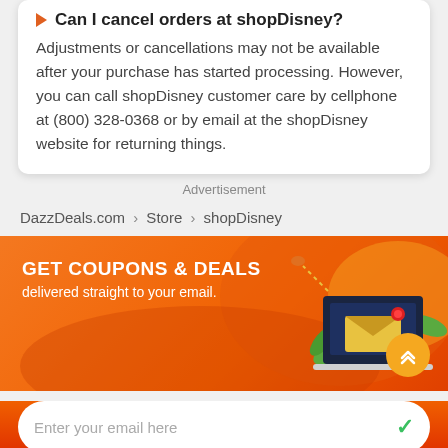Can I cancel orders at shopDisney?
Adjustments or cancellations may not be available after your purchase has started processing. However, you can call shopDisney customer care by cellphone at (800) 328-0368 or by email at the shopDisney website for returning things.
Advertisement
DazzDeals.com > Store > shopDisney
[Figure (infographic): Orange banner with laptop/email illustration, GET COUPONS & DEALS text, delivered straight to your email., scroll-to-top button, and email input field.]